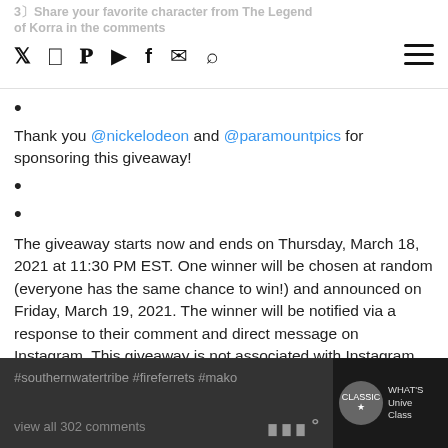3〕Share your favorite character from The Legend of Korra in the comments
Thank you @nickelodeon and @paramountpics for sponsoring this giveaway!
The giveaway starts now and ends on Thursday, March 18, 2021 at 11:30 PM EST. One winner will be chosen at random (everyone has the same chance to win!) and announced on Friday, March 19, 2021. The winner will be notified via a response to their comment and direct message on Instagram. This giveaway is not associated with Instagram.
#thelegendofkorra #korra #legendofkorra #airbender #thelastairbender #avatarthelastairbender #avatar #nickelodeon #geeklife #firewaterearthair #popcornerreviews #avatarkorra #korrasami #asami #pabu #bolin
#southernwatertribe #fireferrets #mako
view all 302 comments